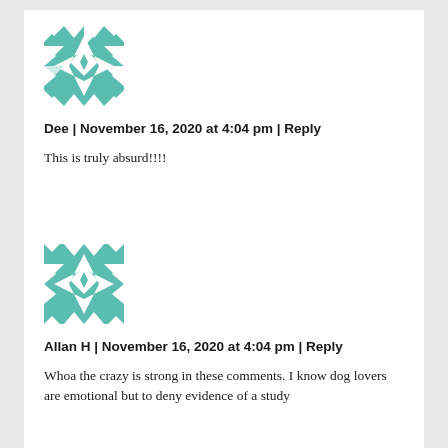[Figure (illustration): Teal and white geometric quilt-pattern avatar for user Dee]
Dee | November 16, 2020 at 4:04 pm | Reply
This is truly absurd!!!!
[Figure (illustration): Teal and white geometric quilt-pattern avatar for user Allan H]
Allan H | November 16, 2020 at 4:04 pm | Reply
Whoa the crazy is strong in these comments. I know dog lovers are emotional but to deny evidence of a study